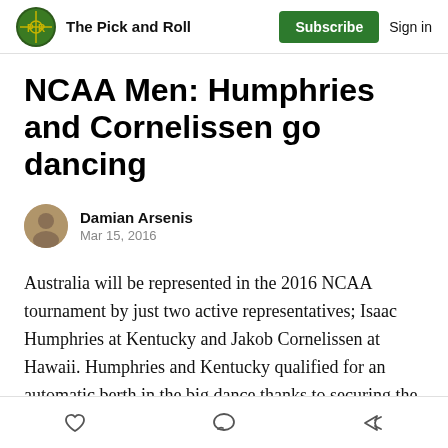The Pick and Roll | Subscribe | Sign in
NCAA Men: Humphries and Cornelissen go dancing
Damian Arsenis
Mar 15, 2016
Australia will be represented in the 2016 NCAA tournament by just two active representatives; Isaac Humphries at Kentucky and Jakob Cornelissen at Hawaii. Humphries and Kentucky qualified for an automatic berth in the big dance thanks to securing the SEC Tournament title, while Hawaii won a thrilling Big